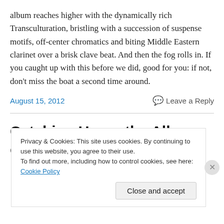album reaches higher with the dynamically rich Transculturation, bristling with a succession of suspense motifs, off-center chromatics and biting Middle Eastern clarinet over a brisk clave beat. And then the fog rolls in. If you caught up with this before we did, good for you: if not, don't miss the boat a second time around.
August 15, 2012 · Leave a Reply
Catching Up on the Albums of
Privacy & Cookies: This site uses cookies. By continuing to use this website, you agree to their use.
To find out more, including how to control cookies, see here: Cookie Policy
Close and accept